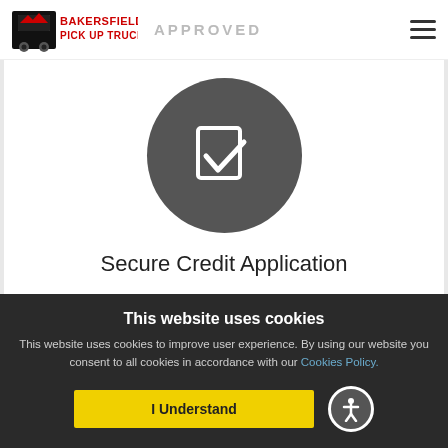Bakersfield Pick Up Trucks — APPROVED
[Figure (logo): Bakersfield Pick Up Trucks logo with red bold text and truck icon, next to grayed-out 'APPROVED' text]
[Figure (illustration): Dark gray circle with a white checkbox/document icon in the center]
Secure Credit Application
This website uses cookies
This website uses cookies to improve user experience. By using our website you consent to all cookies in accordance with our Cookies Policy.
I Understand